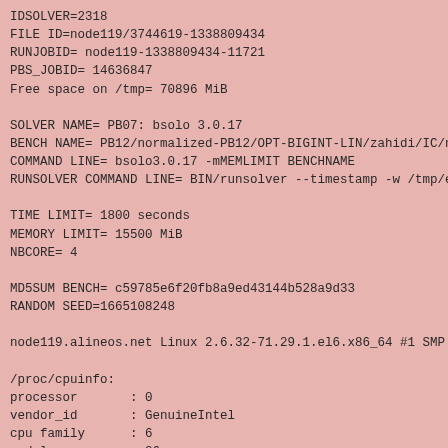IDSOLVER=2318
FILE ID=node119/3744619-1338809434
RUNJOBID= node119-1338809434-11721
PBS_JOBID= 14636847
Free space on /tmp= 70896 MiB

SOLVER NAME= PB07: bsolo 3.0.17
BENCH NAME= PB12/normalized-PB12/OPT-BIGINT-LIN/zahidi/IC/nor
COMMAND LINE= bsolo3.0.17 -mMEMLIMIT BENCHNAME
RUNSOLVER COMMAND LINE= BIN/runsolver --timestamp -w /tmp/eva

TIME LIMIT= 1800 seconds
MEMORY LIMIT= 15500 MiB
NBCORE= 4

MD5SUM BENCH= c59785e6f20fb8a9ed43144b528a9d33
RANDOM SEED=1665108248

node119.alineos.net Linux 2.6.32-71.29.1.el6.x86_64 #1 SMP Mo

/proc/cpuinfo:
processor       : 0
vendor_id       : GenuineIntel
cpu family      : 6
model           : 26
model name      : Intel(R) Xeon(R) CPU          X5550  @ 2.6
stepping        : 5
cpu MHz         : 2666.943
cache size      : 8192 KB
physical id     : 0
siblings        : 4
core id         : 0
cpu cores       : 4